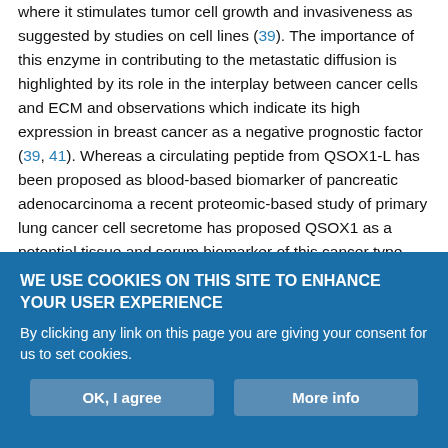where it stimulates tumor cell growth and invasiveness as suggested by studies on cell lines (39). The importance of this enzyme in contributing to the metastatic diffusion is highlighted by its role in the interplay between cancer cells and ECM and observations which indicate its high expression in breast cancer as a negative prognostic factor (39, 41). Whereas a circulating peptide from QSOX1-L has been proposed as blood-based biomarker of pancreatic adenocarcinoma a recent proteomic-based study of primary lung cancer cell secretome has proposed QSOX1 as a potential tissue and serum biomarker of this cancer type (42, 43). In addition, a proteomic analysis of MPM cell line secretome has reported increased expression of this enzyme in malignant cells compared to
WE USE COOKIES ON THIS SITE TO ENHANCE YOUR USER EXPERIENCE
By clicking any link on this page you are giving your consent for us to set cookies.